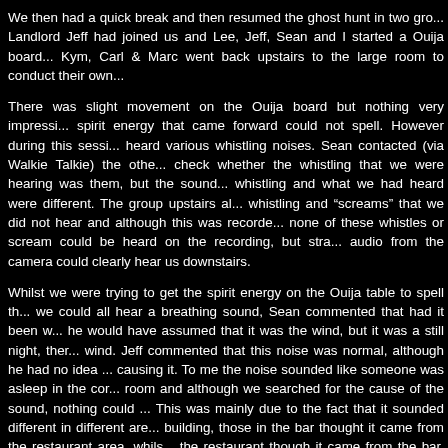We then had a quick break and then resumed the ghost hunt in two gro... Landlord Jeff had joined us and Lee, Jeff, Sean and I started a Ouija board... Kym, Carl & Marc went back upstairs to the large room to conduct their own...
There was slight movement on the Ouija board but nothing very impressi... spirit energy that came forward could not spell. However during this sessi... heard various whistling noises. Sean contacted (via Walkie Talkie) the othe... check whether the whistling that we were hearing was them, but the sound... whistling and what we had heard were different. The group upstairs al... whistling and "screams" that we did not hear and although this was recorde... none of these whistles or scream could be heard on the recording, but stra... audio from the camera could clearly hear us downstairs.
Whilst we were trying to get the spirit energy on the Ouija table to spell th... we could all hear a breathing sound, Sean commented that had it been w... he would have assumed that it was the wind, but it was a still night, ther... wind. Jeff commented that this noise was normal, although he had no idea ... causing it. To me the noise sounded like someone was asleep in the cor... room and although we searched for the cause of the sound, nothing could ... This was mainly due to the fact that it sounded different in different are... building, those in the bar thought it came from the restaurant area, whils... the restaurant though it came from the bar. Jeff confirmed that no... equipment was on that would make this noise. The only electrical equipme... was turned on was in the cellar but we could all clearly hear the cooler a... sound of whatever it was we were hearing. However what was strange is t... we became aware of the sound it lasted for about 10 minutes and then sto... we did not hear it for the rest of the night.